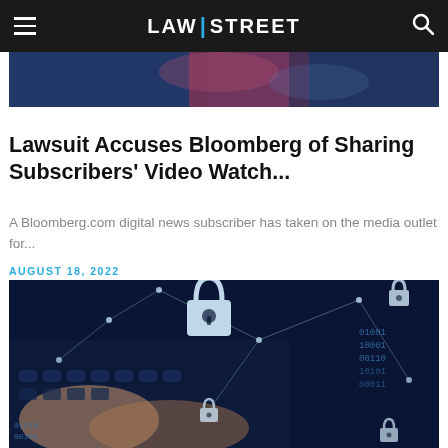LAW|STREET
[Figure (photo): Partial top image strip showing a blurred background photo (appears to be flags or decorative background)]
Lawsuit Accuses Bloomberg of Sharing Subscribers' Video Watch...
A Bloomberg.com digital news subscriber has taken on the media outlet for...
AUGUST 18, 2022
[Figure (photo): Cybersecurity themed photo showing hands typing on a laptop keyboard with digital lock icons and network connection lines overlaid, and binary code on the right side]